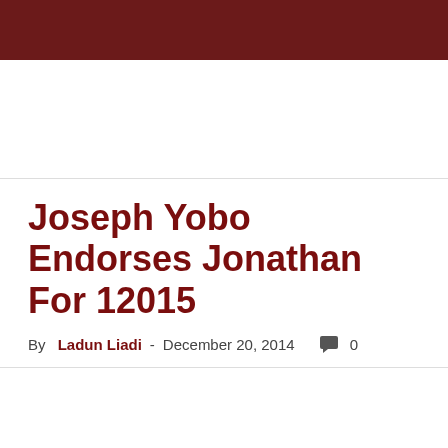Joseph Yobo Endorses Jonathan For 12015
By Ladun Liadi - December 20, 2014  0